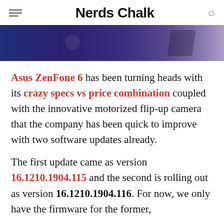Nerds Chalk
[Figure (photo): Hero image showing a dark-colored smartphone with blue/purple background]
Asus ZenFone 6 has been turning heads with its crazy specs vs price combination coupled with the innovative motorized flip-up camera that the company has been quick to improve with two software updates already.
The first update came as version 16.1210.1904.115 and the second is rolling out as version 16.1210.1904.116. For now, we only have the firmware for the former,